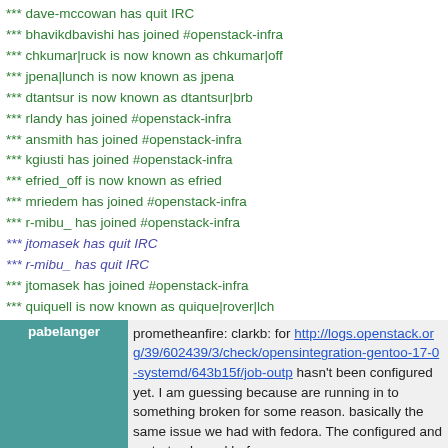*** dave-mccowan has quit IRC
*** bhavikdbavishi has joined #openstack-infra
*** chkumar|ruck is now known as chkumar|off
*** jpena|lunch is now known as jpena
*** dtantsur is now known as dtantsur|brb
*** rlandy has joined #openstack-infra
*** ansmith has joined #openstack-infra
*** kgiusti has joined #openstack-infra
*** efried_off is now known as efried
*** mriedem has joined #openstack-infra
*** r-mibu_ has joined #openstack-infra
*** jtomasek has quit IRC
*** r-mibu_ has quit IRC
*** jtomasek has joined #openstack-infra
*** quiquell is now known as quique|rover|lch
| nick | message |
| --- | --- |
| pabelanger | prometheanfire: clarkb: for http://logs.openstack.org/39/602439/3/check/openstack-integration-gentoo-17-0-systemd/643b15f/job-outp hasn't been configured yet. I am guessing because are running in to something broken for some reason. basically the same issue we had with fedora. The configured and restart unbound before |
| pabelanger | validate-host role. |